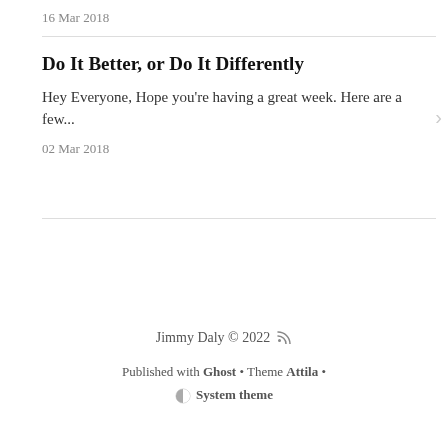16 Mar 2018
Do It Better, or Do It Differently
Hey Everyone, Hope you're having a great week. Here are a few...
02 Mar 2018
Jimmy Daly © 2022  ␇
Published with Ghost • Theme Attila • System theme